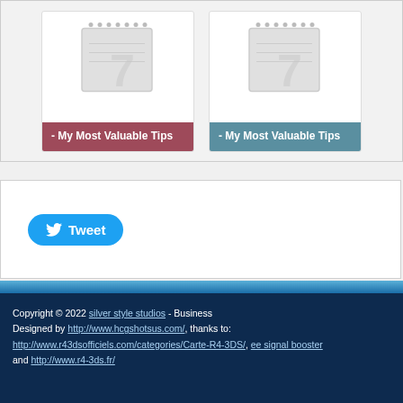[Figure (illustration): Two card thumbnails with notebook icons. Left card has a dark red/mauve label reading '- My Most Valuable Tips'. Right card has a teal/blue label reading '- My Most Valuable Tips'.]
[Figure (screenshot): A Tweet button with Twitter bird icon on a white background panel.]
Copyright © 2022 silver style studios - Business Designed by http://www.hcgshotsus.com/, thanks to: http://www.r43dsofficiels.com/categories/Carte-R4-3DS/, ee signal booster and http://www.r4-3ds.fr/